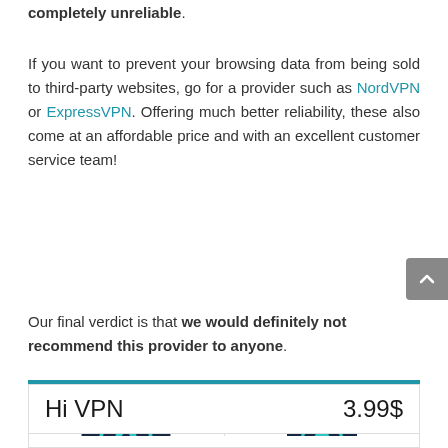completely unreliable.
If you want to prevent your browsing data from being sold to third-party websites, go for a provider such as NordVPN or ExpressVPN. Offering much better reliability, these also come at an affordable price and with an excellent customer service team!
Our final verdict is that we would definitely not recommend this provider to anyone.
| Hi VPN | 3.99$ |
| --- | --- |